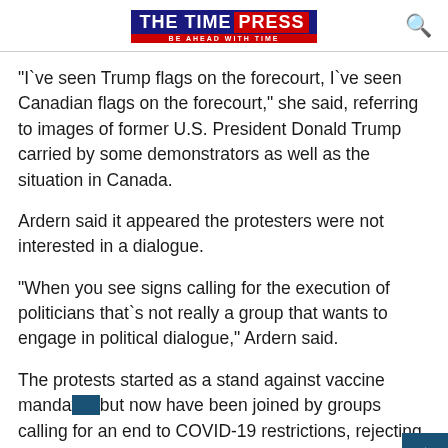THE TIME PRESS — BE AHEAD WITH TIME
“I`ve seen Trump flags on the forecourt, I`ve seen Canadian flags on the forecourt,” she said, referring to images of former U.S. President Donald Trump carried by some demonstrators as well as the situation in Canada.
Ardern said it appeared the protesters were not interested in a dialogue.
“When you see signs calling for the execution of politicians that`s not really a group that wants to engage in political dialogue,” Ardern said.
The protests started as a stand against vaccine manda… but now have been joined by groups calling for an end to COVID-19 restrictions, rejecting vaccinations, as well as